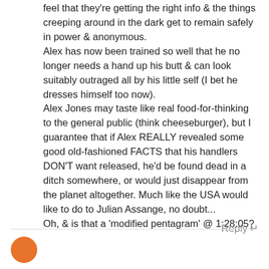feel that they're getting the right info & the things creeping around in the dark get to remain safely in power & anonymous. Alex has now been trained so well that he no longer needs a hand up his butt & can look suitably outraged all by his little self (I bet he dresses himself too now). Alex Jones may taste like real food-for-thinking to the general public (think cheeseburger), but I guarantee that if Alex REALLY revealed some good old-fashioned FACTS that his handlers DON'T want released, he'd be found dead in a ditch somewhere, or would just disappear from the planet altogether. Much like the USA would like to do to Julian Assange, no doubt... Oh, & is that a 'modified pentagram' @ 1:28:05?
Reply ↲